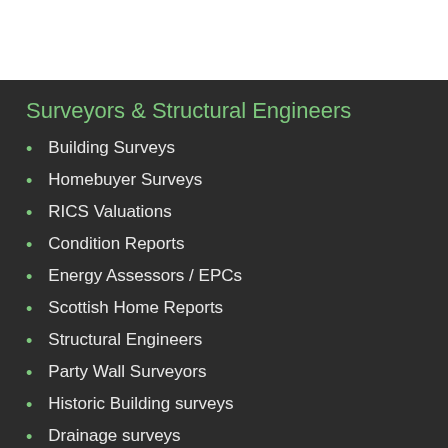Surveyors & Structural Engineers
Building Surveys
Homebuyer Surveys
RICS Valuations
Condition Reports
Energy Assessors / EPCs
Scottish Home Reports
Structural Engineers
Party Wall Surveyors
Historic Building surveys
Drainage surveys